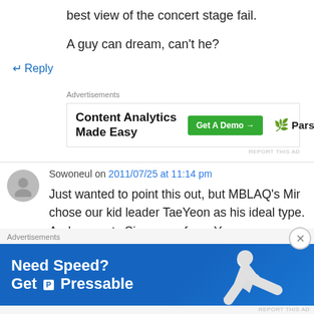best view of the concert stage fail.
A guy can dream, can't he?
↵ Reply
[Figure (infographic): Advertisement for Parse.ly Content Analytics: 'Content Analytics Made Easy' with a green 'Get A Demo →' button and Parse.ly logo]
Sowoneul on 2011/07/25 at 11:14 pm
Just wanted to point this out, but MBLAQ's Mir chose our kid leader TaeYeon as his ideal type. And congrats Singapore fans. You guys
[Figure (infographic): Advertisement banner: 'Need Speed? Get Pressable' with a blue background and figure of a person flying/running]